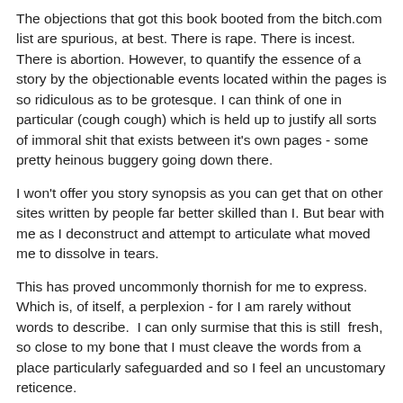The objections that got this book booted from the bitch.com list are spurious, at best. There is rape. There is incest. There is abortion. However, to quantify the essence of a story by the objectionable events located within the pages is so ridiculous as to be grotesque. I can think of one in particular (cough cough) which is held up to justify all sorts of immoral shit that exists between it's own pages - some pretty heinous buggery going down there.
I won't offer you story synopsis as you can get that on other sites written by people far better skilled than I. But bear with me as I deconstruct and attempt to articulate what moved me to dissolve in tears.
This has proved uncommonly thornish for me to express.  Which is, of itself, a perplexion - for I am rarely without words to describe.  I can only surmise that this is still  fresh, so close to my bone that I must cleave the words from a place particularly safeguarded and so I feel an uncustomary reticence.
Bear with me, I beg you.